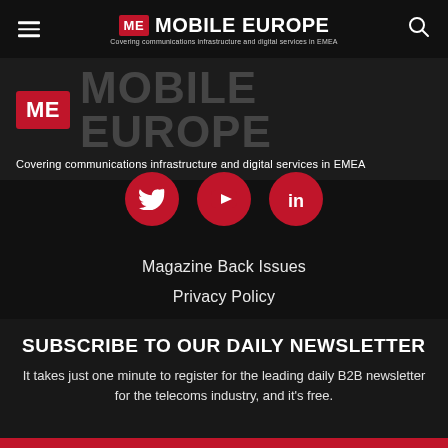ME MOBILE EUROPE — Covering communications infrastructure and digital services in EMEA
[Figure (logo): Mobile Europe logo with red ME box and large faded MOBILE EUROPE wordmark, tagline: Covering communications infrastructure and digital services in EMEA]
[Figure (infographic): Three red circular social media icons: Twitter (bird), YouTube (play button), LinkedIn (in)]
Magazine Back Issues
Privacy Policy
Terms Of Use
Contact Us
SUBSCRIBE TO OUR DAILY NEWSLETTER
It takes just one minute to register for the leading daily B2B newsletter for the telecoms industry, and it's free.